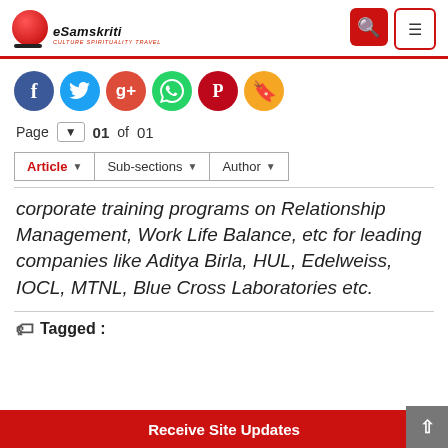eSamskriti — CULTURE SPIRITUALITY TRAVEL
[Figure (other): Social sharing icons: Facebook, Twitter, Google+, WhatsApp, Pinterest, Bookmark]
Page 01 of 01
Article ▼  Sub-sections ▼  Author ▼
corporate training programs on Relationship Management, Work Life Balance, etc for leading companies like Aditya Birla, HUL, Edelweiss, IOCL, MTNL, Blue Cross Laboratories etc.
Tagged :
Receive Site Updates